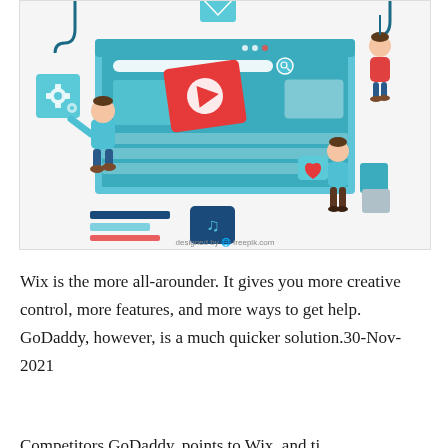[Figure (illustration): Colorful flat-style illustration of cartoon characters building/designing a website. Shows a large blue browser/screen in the center with UI elements (video player, search bar, images). Characters in teal and red clothing are placing content elements. One holds gear icons, another swings from a hook, one places a heart icon. Decorative elements include music notes, blue and red stripes, an envelope. Bottom watermark reads 'designed by freepik.com'.]
Wix is the more all-arounder. It gives you more creative control, more features, and more ways to get help. GoDaddy, however, is a much quicker solution.30-Nov-2021
Competitors GoDaddy, points to Wix, and ti...